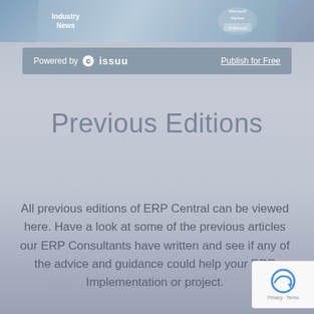[Figure (illustration): Top banner with Industry News and Microsoft Partner text over a water/blue background image]
Powered by issuu    Publish for Free
Previous Editions
All previous editions of ERP Central can be viewed here. Have a look at some of the previous articles our ERP Consultants have written and see if any of the advice and guidance could help your ERP Implementation or project.